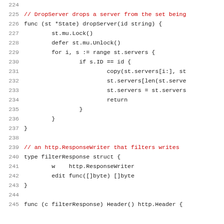Source code listing, lines 224-245, Go language
224 (blank)
225 // DropServer drops a server from the set being
226 func (st *State) dropServer(id string) {
227     st.mu.Lock()
228     defer st.mu.Unlock()
229     for i, s := range st.servers {
230         if s.ID == id {
231             copy(st.servers[i:], st
232             st.servers[len(st.serve
233             st.servers = st.servers
234             return
235         }
236     }
237 }
238 (blank)
239 // an http.ResponseWriter that filters writes
240 type filterResponse struct {
241     w    http.ResponseWriter
242     edit func([]byte) []byte
243 }
244 (blank)
245 func (c filterResponse) Header() http.Header {